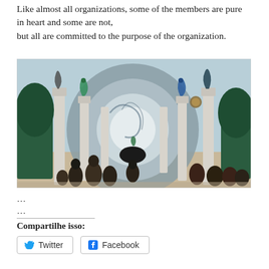Like almost all organizations, some of the members are pure in heart and some are not, but all are committed to the purpose of the organization.
[Figure (illustration): Fantasy/sci-fi illustration showing robed figures standing and kneeling before a large glowing dome portal flanked by tall white columns with decorative spirit-like creatures on top, set in an outdoor environment with trees in the background.]
...
Compartilhe isso:
Twitter  Facebook